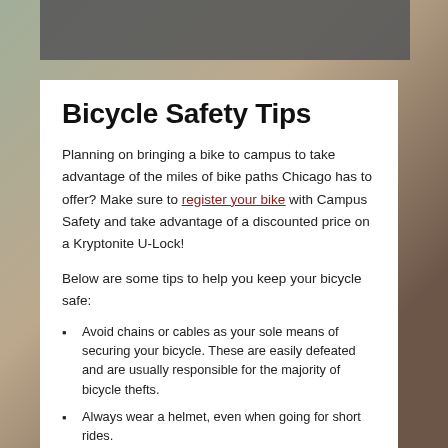[Figure (photo): Background photo of bicycles with blurred greenery and brown tones, with a gray bar across the top]
Bicycle Safety Tips
Planning on bringing a bike to campus to take advantage of the miles of bike paths Chicago has to offer? Make sure to register your bike with Campus Safety and take advantage of a discounted price on a Kryptonite U-Lock!
Below are some tips to help you keep your bicycle safe:
Avoid chains or cables as your sole means of securing your bicycle. These are easily defeated and are usually responsible for the majority of bicycle thefts.
Always wear a helmet, even when going for short rides.
Consult this guide published by the City of Chicago for...